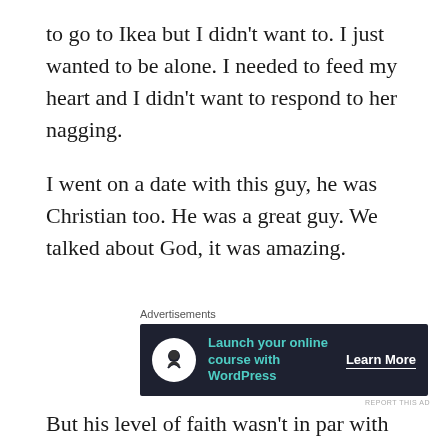to go to Ikea but I didn't want to. I just wanted to be alone. I needed to feed my heart and I didn't want to respond to her nagging.
I went on a date with this guy, he was Christian too. He was a great guy. We talked about God, it was amazing.
[Figure (other): Advertisement banner with dark background. Shows a tree/person icon in a white circle, teal text reading 'Launch your online course with WordPress', and a 'Learn More' CTA button. Label says 'Advertisements'. Small 'REPORT THIS AD' text below.]
But his level of faith wasn't in par with mine.
That was the dilemma. You need to make sure he is called to the same life purpose. I'm called to deliver people from demons, fears, bondages, I'm called to